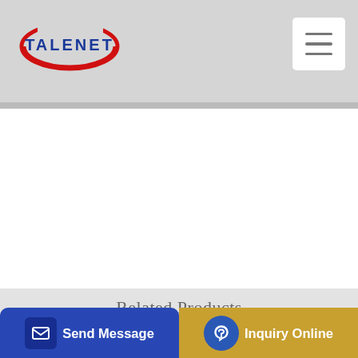[Figure (logo): TALENET company logo with red oval swoosh and blue text]
Related Products
PUTZMEISTER BSA 1409 D stationary concrete pump for sale
HBT series of trailer-mounted concrete pump Concrete Mixing plants